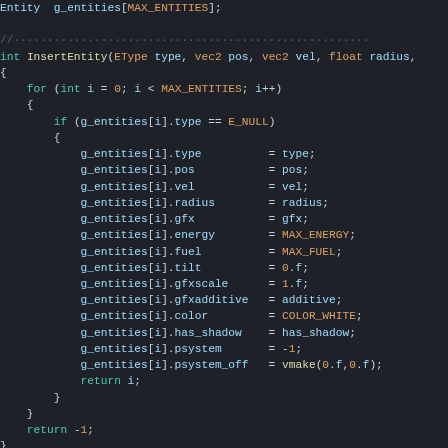[Figure (screenshot): C/C++ source code showing InsertEntity function implementation with entity property assignments and loop structure, dark IDE theme]